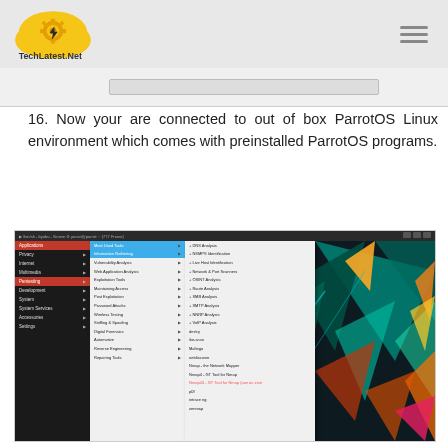TechLatest.Net
16. Now your are connected to out of box ParrotOS Linux environment which comes with preinstalled ParrotOS programs.
[Figure (screenshot): ParrotOS Linux desktop screenshot showing the application menu open with Hacking submenu expanded, displaying options like Information Gathering, Vulnerability Analysis, Web Application Analysis, Exploitation Tools, Maintaining Access, Post Exploitation, Password Attacks, Wireless Testing, Sniffing & Spoofing, Digital Forensics, Automotive, Reverse Engineering, Repairing Tools. A further submenu shows DNS Analysis, NSMPS Identification, Live Host Identification, Network & Port Scanners, OSINT Analysis, Route Analysis, SMB Analysis, SMTP Analysis, NNRP Analysis, VoIP Analysis, dmitri, Ike-scan, Maltego, netdiscover, Nmap, Nmap4, Nmap44, p0f, intrace ng, zenmap. The desktop has a geometric teal/dark background with colorful triangle shapes.]